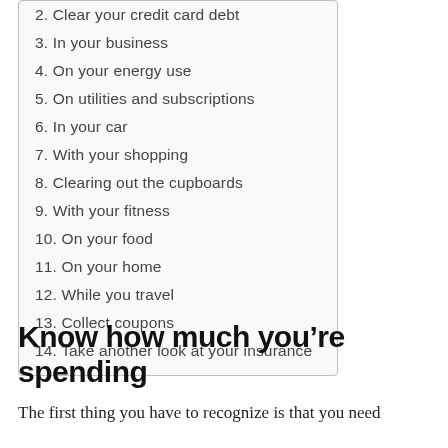2. Clear your credit card debt
3. In your business
4. On your energy use
5. On utilities and subscriptions
6. In your car
7. With your shopping
8. Clearing out the cupboards
9. With your fitness
10. On your food
11. On your home
12. While you travel
13. Collect coupons
14. Take another look at your insurance
Know how much you’re spending
The first thing you have to recognize is that you need